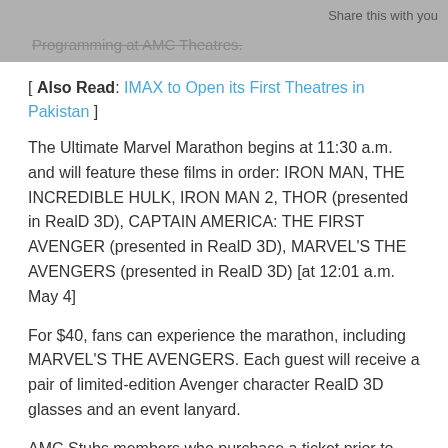Share this with you
Programming at AMC Theatres.
[ Also Read: IMAX to Open its First Theatres in Pakistan ]
The Ultimate Marvel Marathon begins at 11:30 a.m. and will feature these films in order: IRON MAN, THE INCREDIBLE HULK, IRON MAN 2, THOR (presented in RealD 3D), CAPTAIN AMERICA: THE FIRST AVENGER (presented in RealD 3D), MARVEL’S THE AVENGERS (presented in RealD 3D) [at 12:01 a.m. May 4]
For $40, fans can experience the marathon, including MARVEL’S THE AVENGERS. Each guest will receive a pair of limited-edition Avenger character RealD 3D glasses and an event lanyard.
AMC Stubs members who purchase a ticket prior to May 3 will receive $5 Bonus Bucks on their AMC Stubs account, valid the day of the event. Tickets are on sale